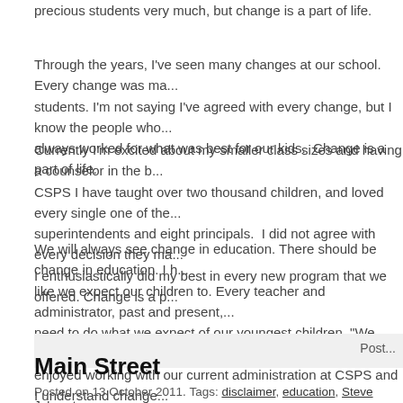precious students very much, but change is a part of life.
Through the years, I've seen many changes at our school. Every change was made for the students. I'm not saying I've agreed with every change, but I know the people who always worked for what was best for our kids. Change is a part of life.
Currently I'm excited about my smaller class sizes and having a counselor in the building. At CSPS I have taught over two thousand children, and loved every single one of them. I've had superintendents and eight principals. I did not agree with every decision they made, but I enthusiastically did my best in every new program that we offered. Change is a p...
We will always see change in education. There should be change in education. I hope we grow like we expect our children to. Every teacher and administrator, past and present, need to do what we expect of our youngest children, "We need kind hands, kind h... enjoyed working with our current administration at CSPS and I understand change is a chance to continue improvement for our district and for our kids.
Post
Main Street
Posted on 13 October 2011. Tags: disclaimer, education, Steve Jobs, stress